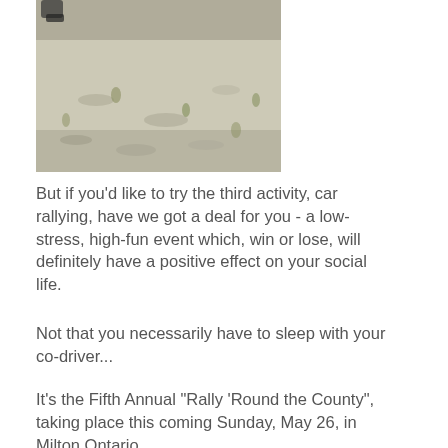[Figure (photo): Outdoor ground-level photograph showing a dirt/gravel surface with sparse vegetation, possibly a rally road or field.]
But if you'd like to try the third activity, car rallying, have we got a deal for you - a low-stress, high-fun event which, win or lose, will definitely have a positive effect on your social life.
Not that you necessarily have to sleep with your co-driver...
It's the Fifth Annual "Rally 'Round the County", taking place this coming Sunday, May 26, in Milton Ontario.
It won't involve you hair-assing along forestry roads at warp speed, nor does it require a race-prepared car or any